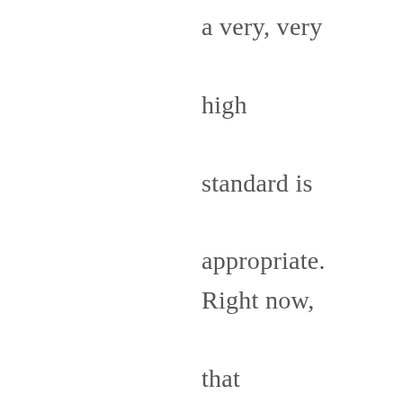a very, very high standard is appropriate. Right now, that standard isn't even close to being met, as it's